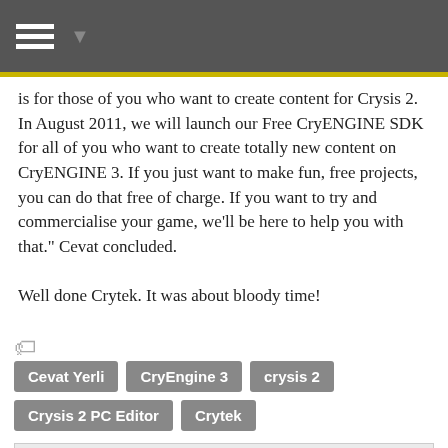Navigation bar with hamburger menu
is for those of you who want to create content for Crysis 2. In August 2011, we will launch our Free CryENGINE SDK for all of you who want to create totally new content on CryENGINE 3. If you just want to make fun, free projects, you can do that free of charge. If you want to try and commercialise your game, we'll be here to help you with that." Cevat concluded.

Well done Crytek. It was about bloody time!
Cevat Yerli
CryEngine 3
crysis 2
Crysis 2 PC Editor
Crytek
About David Scarpitta
I am a critical guy, and love to review and give my professional opinion on just about anything